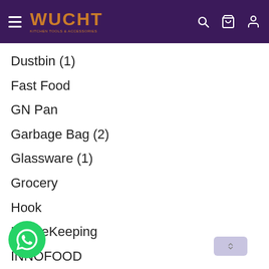WUCHT
Dustbin (1)
Fast Food
GN Pan
Garbage Bag (2)
Glassware (1)
Grocery
Hook
HouseKeeping
INNOFOOD
Insect Killer
Insulated | Vacuum | Thermal
Ironing Board (2)
Japanese | Korean Tableware Kitchen Tool
KITCHEN MAT